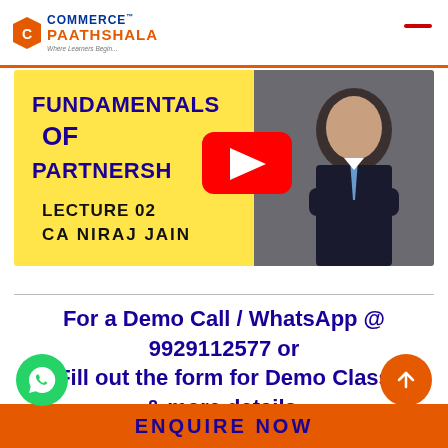Commerce Paathshala — Where Learners Begin
[Figure (screenshot): YouTube video thumbnail for 'Fundamentals of Partnership — Lecture 02 by CA Niraj Jain' with a yellow background, blue bold text, red YouTube play button, and a man in a suit on the right side.]
For a Demo Call / WhatsApp @ 9929112577 or Fill out the form for Demo Class & more details.